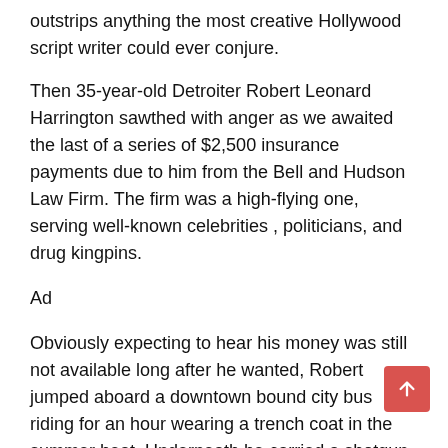outstrips anything the most creative Hollywood script writer could ever conjure.
Then 35-year-old Detroiter Robert Leonard Harrington sawthed with anger as we awaited the last of a series of $2,500 insurance payments due to him from the Bell and Hudson Law Firm. The firm was a high-flying one, serving well-known celebrities , politicians, and drug kingpins.
Ad
Obviously expecting to hear his money was still not available long after he wanted, Robert jumped aboard a downtown bound city bus riding for an hour wearing a trench coat in the summer heat. Underneath he carried a shotgun he sawed the stock from, a jar of gasoline with matches in one pocket and a handgun in another.
Robinson's then wife knew there was trouble brewing. She